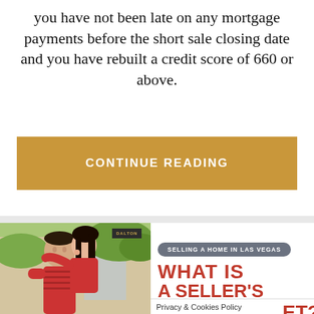you have not been late on any mortgage payments before the short sale closing date and you have rebuilt a credit score of 660 or above.
CONTINUE READING
[Figure (photo): A couple embracing and smiling outdoors in front of a home, woman kissing man's cheek, both wearing red clothing]
SELLING A HOME IN LAS VEGAS
WHAT IS A SELLER'S ET?
Privacy & Cookies Policy